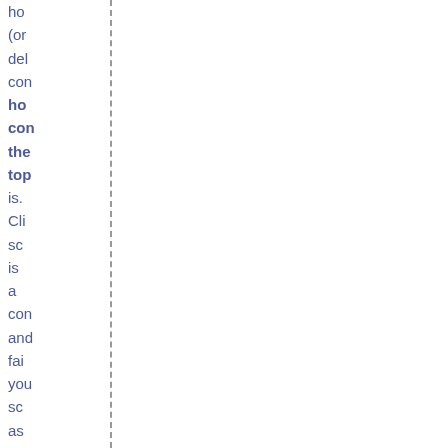ho
(or
del
con
how
con
the
top
is.
Cli
sc
is
a
con
and
fai
you
sc
as